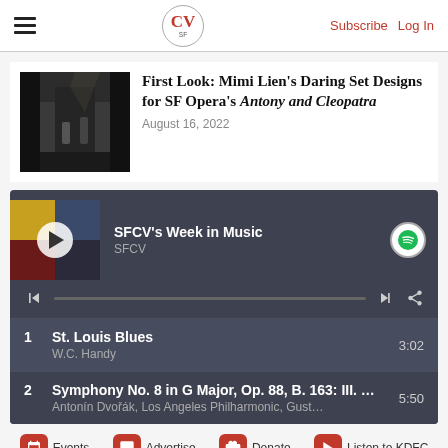SFCV — Subscribe | Log In
[Figure (screenshot): Article thumbnail showing a dark stage set design]
First Look: Mimi Lien's Daring Set Designs for SF Opera's Antony and Cleopatra
August 16, 2022
[Figure (screenshot): Spotify embedded playlist widget: SFCV's Week in Music by SFCV, with two tracks listed: 1. St. Louis Blues - W.C. Handy (3:02), 2. Symphony No. 8 in G Major, Op. 88, B. 163: III. ... - Antonín Dvořák, Los Angeles Philharmonic, Gust... (5:50)]
Events | Advertise | Donate | Listen to KDFC | Hot Deals | Giveaways